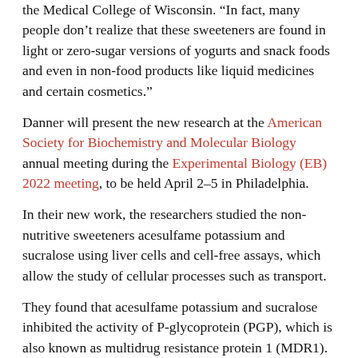the Medical College of Wisconsin. “In fact, many people don’t realize that these sweeteners are found in light or zero-sugar versions of yogurts and snack foods and even in non-food products like liquid medicines and certain cosmetics.”
Danner will present the new research at the American Society for Biochemistry and Molecular Biology annual meeting during the Experimental Biology (EB) 2022 meeting, to be held April 2–5 in Philadelphia.
In their new work, the researchers studied the non-nutritive sweeteners acesulfame potassium and sucralose using liver cells and cell-free assays, which allow the study of cellular processes such as transport.
They found that acesulfame potassium and sucralose inhibited the activity of P-glycoprotein (PGP), which is also known as multidrug resistance protein 1 (MDR1). PGP is part of a family of transporters that work together to cleanse the body of toxins, drugs and drug metabolites.
“We observed that sweeteners impacted PGP activity in liver cells at concentrations expected through consumption of common foods and beverages, far below the recommended